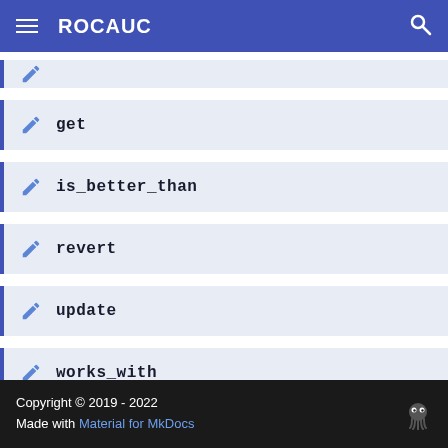ROCAUC
get
is_better_than
revert
update
works_with
Copyright © 2019 - 2022
Made with Material for MkDocs